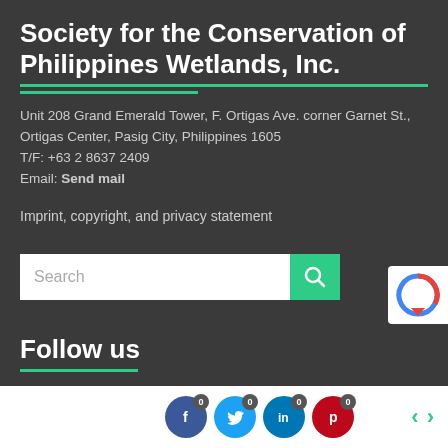Society for the Conservation of Philippines Wetlands, Inc.
Unit 208 Grand Emerald Tower, F. Ortigas Ave. corner Garnet St., Ortigas Center, Pasig City, Philippines 1605
T/F: +63 2 8637 2409
Email: Send mail
Imprint, copyright, and privacy statement
[Figure (screenshot): Search bar with white input field labeled 'Search' and green search button with magnifying glass icon]
Follow us
[Figure (infographic): Bottom bar with social media icons (Facebook, Twitter, LinkedIn, Pinterest) each with badge count 0, and navigation arrows in green]